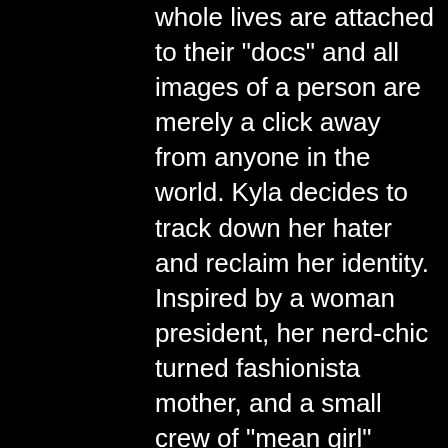whole lives are attached to their "docs" and all images of a person are merely a click away from anyone in the world. Kyla decides to track down her hater and reclaim her identity. Inspired by a woman president, her nerd-chic turned fashionista mother, and a small crew of "mean girl" friends, Kyla contemplates a young woman's ability to own her sexuality. Kyla has to sift through her own judgments in order to get clear about a woman's right to choose modesty or sex positivity. The novel is diverse - it's an ethnicity soup. The only character who actually wears his ethnicity is Kyla's crush, Mackenzie Rodriguez, who speaks Spanish and English interchangeably. Somehow everyone magically understands him.